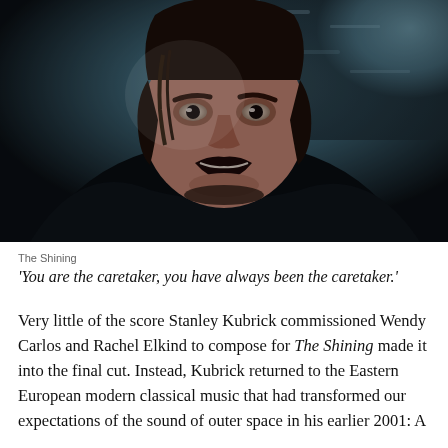[Figure (photo): Dark cinematic still from The Shining showing a menacing man with wild dark hair leaning forward against a stone/concrete wall background, lit in cold blue tones.]
The Shining
'You are the caretaker, you have always been the caretaker.'
Very little of the score Stanley Kubrick commissioned Wendy Carlos and Rachel Elkind to compose for The Shining made it into the final cut. Instead, Kubrick returned to the Eastern European modern classical music that had transformed our expectations of the sound of outer space in his earlier 2001: A